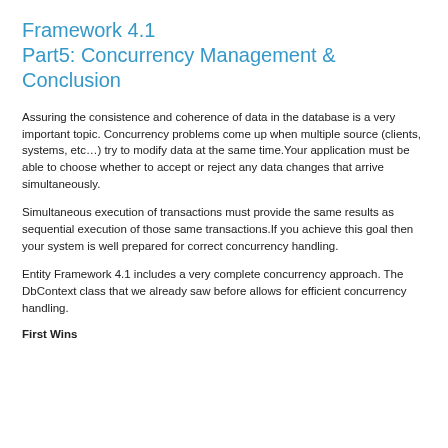Framework 4.1
Part5: Concurrency Management & Conclusion
Assuring the consistence and coherence of data in the database is a very important topic. Concurrency problems come up when multiple source (clients, systems, etc…) try to modify data at the same time.Your application must be able to choose whether to accept or reject any data changes that arrive simultaneously.
Simultaneous execution of transactions must provide the same results as sequential execution of those same transactions.If you achieve this goal then your system is well prepared for correct concurrency handling.
Entity Framework 4.1 includes a very complete concurrency approach. The DbContext class that we already saw before allows for efficient concurrency handling.
First Wins